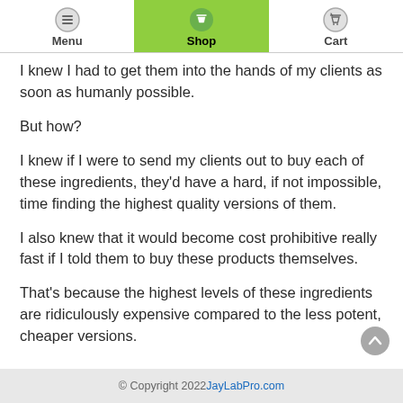Menu | Shop | Cart
I knew I had to get them into the hands of my clients as soon as humanly possible.
But how?
I knew if I were to send my clients out to buy each of these ingredients, they'd have a hard, if not impossible, time finding the highest quality versions of them.
I also knew that it would become cost prohibitive really fast if I told them to buy these products themselves.
That's because the highest levels of these ingredients are ridiculously expensive compared to the less potent, cheaper versions.
© Copyright 2022 JayLabPro.com